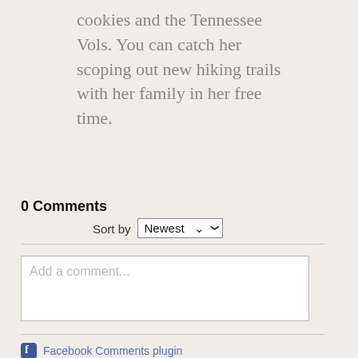cookies and the Tennessee Vols. You can catch her scoping out new hiking trails with her family in her free time.
0 Comments
Sort by Newest
Add a comment...
Facebook Comments plugin